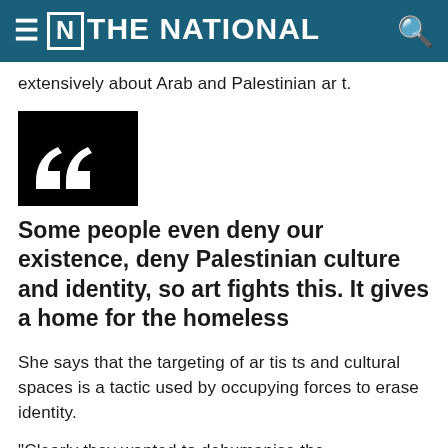≡ [N] THE NATIONAL
extensively about Arab and Palestinian art.
[Figure (illustration): Large black square with two white quotation mark shapes (opening double quotes) in the lower-left area, styled as a decorative pullquote graphic.]
Some people even deny our existence, deny Palestinian culture and identity, so art fights this. It gives a home for the homeless
She says that the targeting of artists and cultural spaces is a tactic used by occupying forces to erase identity.
“Clearly they wanted to dehumanise the